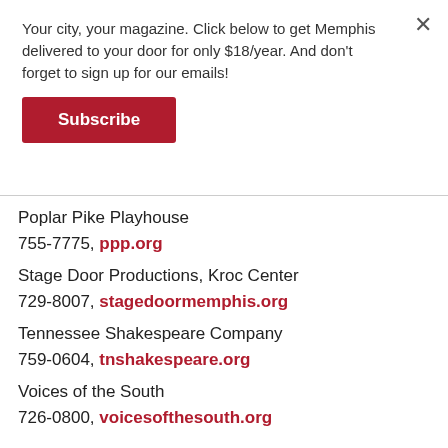Your city, your magazine. Click below to get Memphis delivered to your door for only $18/year. And don't forget to sign up for our emails!
[Figure (other): Red Subscribe button]
Poplar Pike Playhouse
755-7775, ppp.org
Stage Door Productions, Kroc Center
729-8007, stagedoormemphis.org
Tennessee Shakespeare Company
759-0604, tnshakespeare.org
Voices of the South
726-0800, voicesofthesouth.org